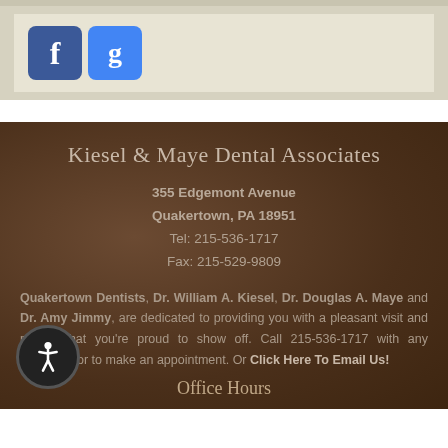[Figure (logo): Facebook logo icon — blue rounded square with white 'f']
[Figure (logo): Google+ logo icon — blue rounded square with white 'g']
Kiesel & Maye Dental Associates
355 Edgemont Avenue
Quakertown, PA 18951
Tel: 215-536-1717
Fax: 215-529-9809
Quakertown Dentists, Dr. William A. Kiesel, Dr. Douglas A. Maye and Dr. Amy Jimmy, are dedicated to providing you with a pleasant visit and results that you're proud to show off. Call 215-536-1717 with any questions or to make an appointment. Or Click Here To Email Us!
Office Hours